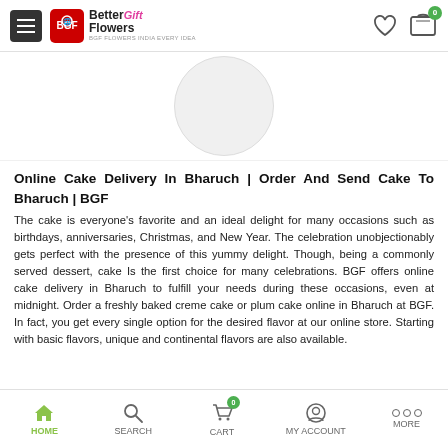Better Flowers Gift — navigation header with hamburger menu and cart icon
[Figure (photo): Product image placeholder — circular light grey product image in center of page]
Online Cake Delivery In Bharuch | Order And Send Cake To Bharuch | BGF
The cake is everyone's favorite and an ideal delight for many occasions such as birthdays, anniversaries, Christmas, and New Year. The celebration unobjectionably gets perfect with the presence of this yummy delight. Though, being a commonly served dessert, cake Is the first choice for many celebrations. BGF offers online cake delivery in Bharuch to fulfill your needs during these occasions, even at midnight. Order a freshly baked creme cake or plum cake online in Bharuch at BGF. In fact, you get every single option for the desired flavor at our online store. Starting with basic flavors, unique and continental flavors are also available.
HOME  SEARCH  CART  MY ACCOUNT  MORE